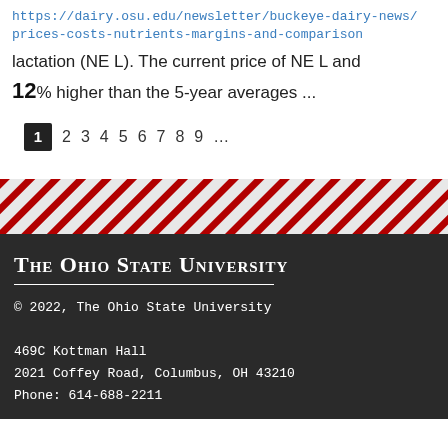https://dairy.osu.edu/newsletter/buckeye-dairy-news/prices-costs-nutrients-margins-and-comparison
lactation (NE L). The current price of NE L and 12% higher than the 5-year averages ...
1 2 3 4 5 6 7 8 9 ...
[Figure (other): Diagonal red and grey striped decorative band]
The Ohio State University
© 2022, The Ohio State University
469C Kottman Hall
2021 Coffey Road, Columbus, OH 43210
Phone: 614-688-2211